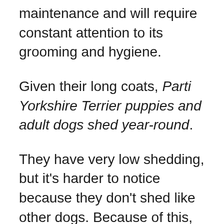maintenance and will require constant attention to its grooming and hygiene.
Given their long coats, Parti Yorkshire Terrier puppies and adult dogs shed year-round.
They have very low shedding, but it's harder to notice because they don't shed like other dogs. Because of this, some consider them hypoallergenic.
While Parti Yorkies' fur need only remain super long for dog shows, their